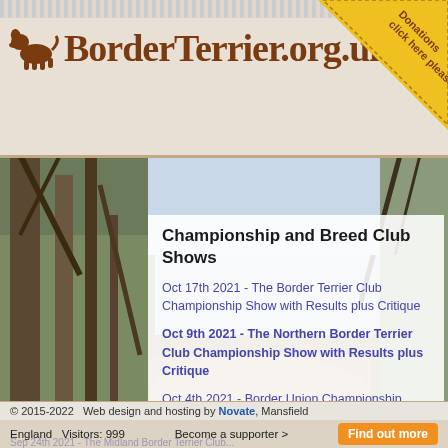BorderTerrier.org.uk
Championship and Breed Club Shows
Oct 17th 2021 - The Border Terrier Club Championship Show with Results plus Critique
Oct 9th 2021 - The Northern Border Terrier Club Championship Show with Results plus Critique
Oct 4th 2021 - Border Union Championship Show with Results plus Critique
Oct 1st 2021 - The Scottish Kennel Club (May) Championship Show with Results plus Critique
Oct 1st 2021 - The Scottish Kennel Club (October) Championship Show with Results plus Critique
Sep 25th 2021 - The Yorkshire, Lancashire and Cheshire Border Terrier Club Championship Show
© 2015-2022  Web design and hosting by Novate, Mansfield  England  Visitors: 999  Become a supporter >  Find out more